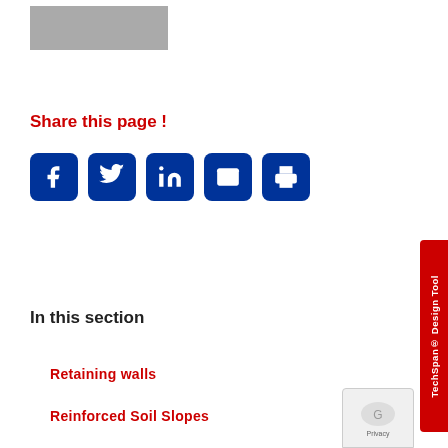[Figure (other): Gray placeholder image box in upper left]
Share this page !
[Figure (infographic): Social share icons: Facebook, Twitter, LinkedIn, Email, Print — white icons on dark blue rounded square buttons]
In this section
Retaining walls
Reinforced Soil Slopes